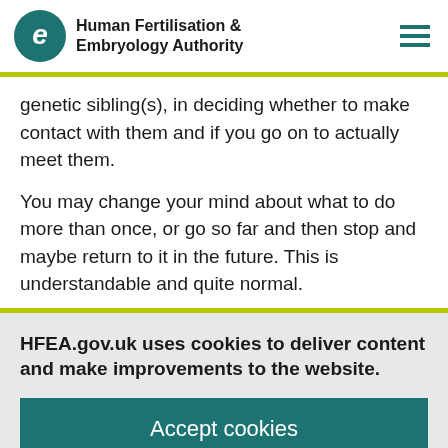[Figure (logo): Human Fertilisation & Embryology Authority logo with teal circular emblem and text]
genetic sibling(s), in deciding whether to make contact with them and if you go on to actually meet them.

You may change your mind about what to do more than once, or go so far and then stop and maybe return to it in the future. This is understandable and quite normal.
HFEA.gov.uk uses cookies to deliver content and make improvements to the website.
Accept cookies
Configure cookies